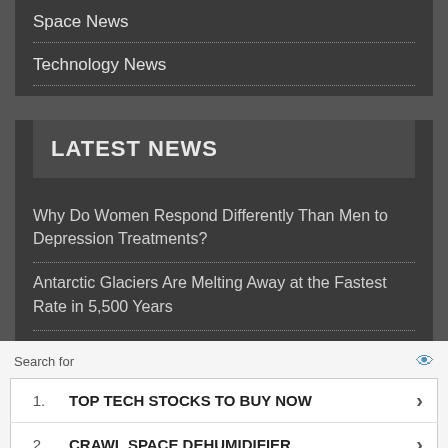Space News
Technology News
LATEST NEWS
Why Do Women Respond Differently Than Men to Depression Treatments?
Antarctic Glaciers Are Melting Away at the Fastest Rate in 5,500 Years
Search for
| # | Item |  |
| --- | --- | --- |
| 1. | TOP TECH STOCKS TO BUY NOW | › |
| 2. | CRAWL SPACE DEHUMIDIFIER | › |
Ad | Cellphone Guru